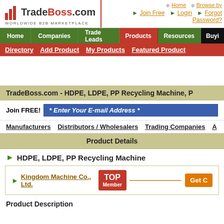[Figure (logo): TradeBoss.com logo with bar chart icon and text 'WORLDWIDE B2B MARKETPLACE']
Home  Browse by  Join Free  Login  Forgot Password?
Home  Companies  Trade Leads  Products  Resources  Buying
Directory  Add Product  My Products  Featured Products
TradeBoss.com - HDPE, LDPE, PP Recycling Machine, P
Join FREE!  * Enter Your E-mail Address *
Manufacturers  Distributors / Wholesalers  Trading Companies  A
Product Details
HDPE, LDPE, PP Recycling Machine
Kingdom Machine Co., Ltd.
[Figure (logo): TOP Member badge in red]
Get C
Product Description